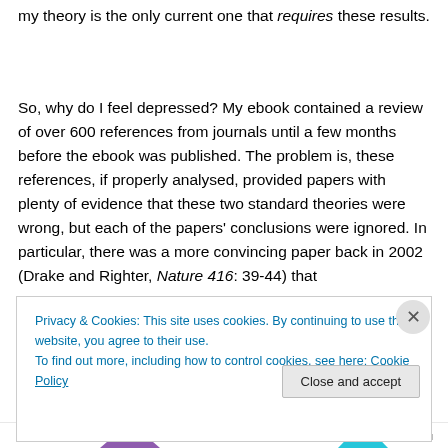my theory is the only current one that requires these results.
So, why do I feel depressed? My ebook contained a review of over 600 references from journals until a few months before the ebook was published. The problem is, these references, if properly analysed, provided papers with plenty of evidence that these two standard theories were wrong, but each of the papers' conclusions were ignored. In particular, there was a more convincing paper back in 2002 (Drake and Righter, Nature 416: 39-44) that
Privacy & Cookies: This site uses cookies. By continuing to use this website, you agree to their use.
To find out more, including how to control cookies, see here: Cookie Policy